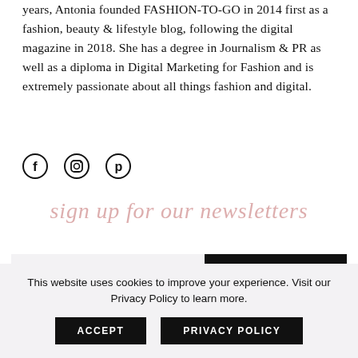years, Antonia founded FASHION-TO-GO in 2014 first as a fashion, beauty & lifestyle blog, following the digital magazine in 2018. She has a degree in Journalism & PR as well as a diploma in Digital Marketing for Fashion and is extremely passionate about all things fashion and digital.
[Figure (infographic): Three social media icons in a row: Facebook (circle with f), Instagram (circle with camera outline), Pinterest (circle with P)]
sign up for our newsletters
Enter your email
SUBSCRIBE >
By checking this box, you confirm that you have read and are agreeing
This website uses cookies to improve your experience. Visit our Privacy Policy to learn more.
ACCEPT
PRIVACY POLICY